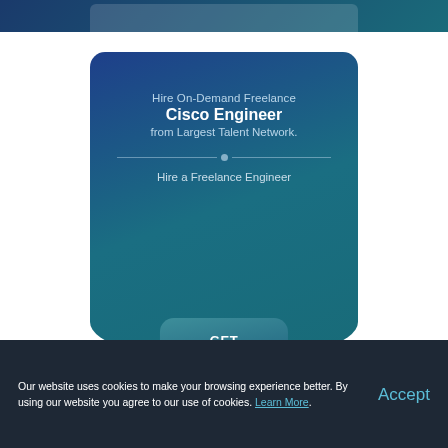[Figure (illustration): Top banner area with dark blue-teal gradient background, partially visible rounded rectangle shape at bottom]
[Figure (infographic): Blue-teal gradient rounded card with text: 'Hire On-Demand Freelance Cisco Engineer from Largest Talent Network.' with decorative divider, 'Hire a Freelance Engineer' text, and a GET STARTED button]
Our website uses cookies to make your browsing experience better. By using our website you agree to our use of cookies. Learn More.
Accept